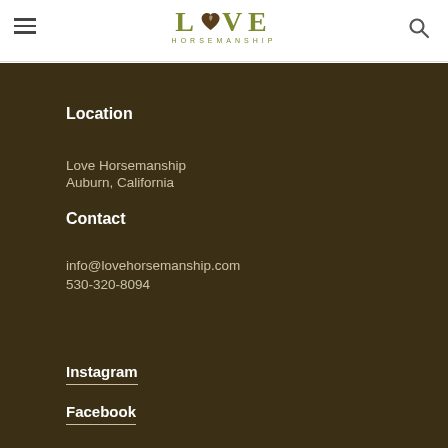LOVE HORSEMANSHIP
Location
Love Horsemanship
Auburn, California
Contact
info@lovehorsemanship.com
530-320-8094
Instagram
Facebook